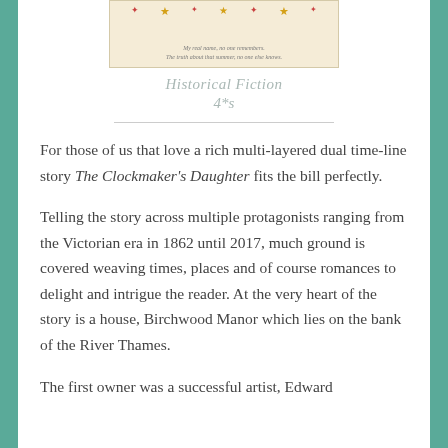[Figure (illustration): Book cover image for The Clockmaker's Daughter, showing a cream/beige background with decorative stars and botanical elements, with two italic text lines: 'My real name, no one remembers.' and 'The truth about that summer, no one else knows.']
Historical Fiction
4*s
For those of us that love a rich multi-layered dual timeline story The Clockmaker's Daughter fits the bill perfectly.
Telling the story across multiple protagonists ranging from the Victorian era in 1862 until 2017, much ground is covered weaving times, places and of course romances to delight and intrigue the reader. At the very heart of the story is a house, Birchwood Manor which lies on the bank of the River Thames.
The first owner was a successful artist, Edward